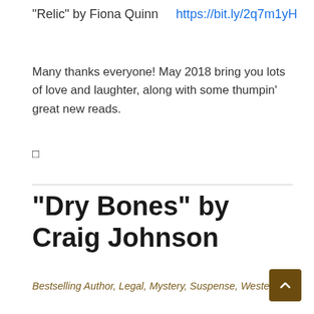“Relic” by Fiona Quinn   https://bit.ly/2q7m1yH
Many thanks everyone! May 2018 bring you lots of love and laughter, along with some thumpin’ great new reads.
□
“Dry Bones” by Craig Johnson
Bestselling Author, Legal, Mystery, Suspense, Western